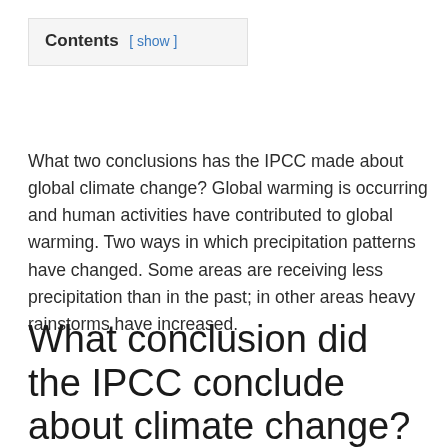What two conclusions has the IPCC made about global climate change? Global warming is occurring and human activities have contributed to global warming. Two ways in which precipitation patterns have changed. Some areas are receiving less precipitation than in the past; in other areas heavy rainstorms have increased.
What conclusion did the IPCC conclude about climate change?